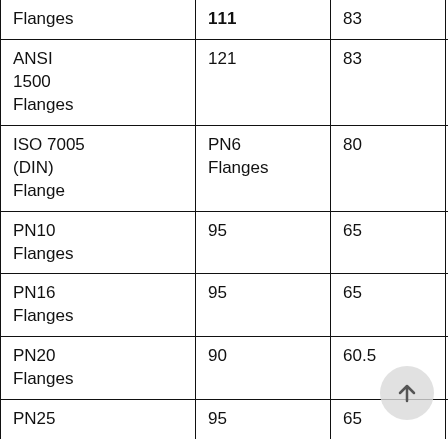| ANSI 900 Flanges (partial, top cut off) | 111 (partial) | 83 (partial) | 4 (partial) |
| ANSI 1500 Flanges | 121 | 83 | 4 |
| ISO 7005 (DIN) Flange | PN6 Flanges | 80 | 55 |
| PN10 Flanges | 95 | 65 | 4 |
| PN16 Flanges | 95 | 65 | 4 |
| PN20 Flanges | 90 | 60.5 | 4 |
| PN25 | 95 | 65 | 4 |